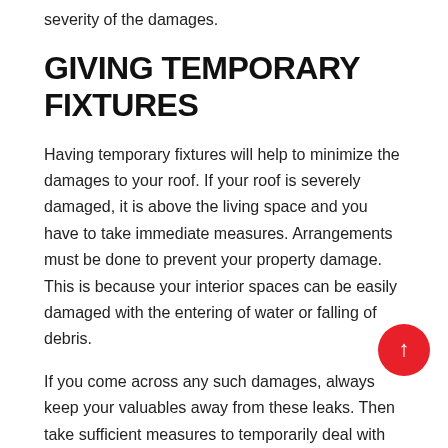severity of the damages.
GIVING TEMPORARY FIXTURES
Having temporary fixtures will help to minimize the damages to your roof. If your roof is severely damaged, it is above the living space and you have to take immediate measures. Arrangements must be done to prevent your property damage. This is because your interior spaces can be easily damaged with the entering of water or falling of debris.
If you come across any such damages, always keep your valuables away from these leaks. Then take sufficient measures to temporarily deal with the situation. Get the help of a roofing company or roofing contractor immediately to take measures